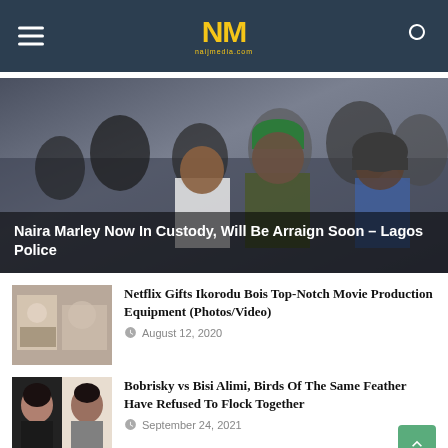NM naijmedia.com
[Figure (photo): Naira Marley being escorted by police officers in military uniforms]
Naira Marley Now In Custody, Will Be Arraign Soon – Lagos Police
[Figure (photo): Netflix gifts Ikorodu Bois movie equipment - thumbnail]
Netflix Gifts Ikorodu Bois Top-Notch Movie Production Equipment (Photos/Video)
August 12, 2020
[Figure (photo): Bobrisky vs Bisi Alimi - portraits thumbnail]
Bobrisky vs Bisi Alimi, Birds Of The Same Feather Have Refused To Flock Together
September 24, 2021